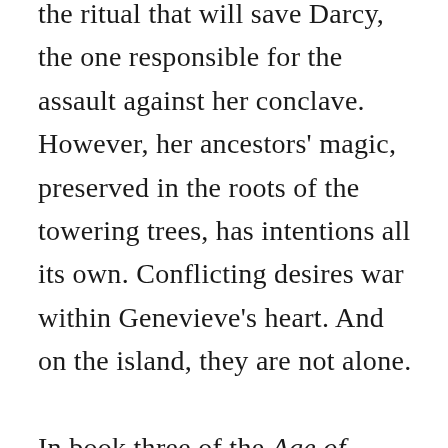the ritual that will save Darcy, the one responsible for the assault against her conclave. However, her ancestors' magic, preserved in the roots of the towering trees, has intentions all its own. Conflicting desires war within Genevieve's heart. And on the island, they are not alone.

In book three of the Age of Azuria epic fantasy series, Iellieth, Briseras, Persephonie, Genevieve, and Teodric confront the true cost of their journeys. But the question remains: Are they ever alone? Find out in this gripping